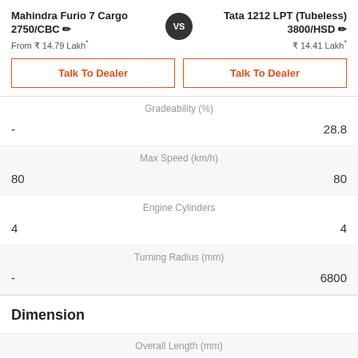Mahindra Furio 7 Cargo 2750/CBC
Tata 1212 LPT (Tubeless) 3800/HSD
From ₹ 14.79 Lakh*
₹ 14.41 Lakh*
Talk To Dealer
Talk To Dealer
Gradeability (%)
- | 28.8
Max Speed (km/h)
80 | 80
Engine Cylinders
4 | 4
Turning Radius (mm)
- | 6800
Dimension
Overall Length (mm)